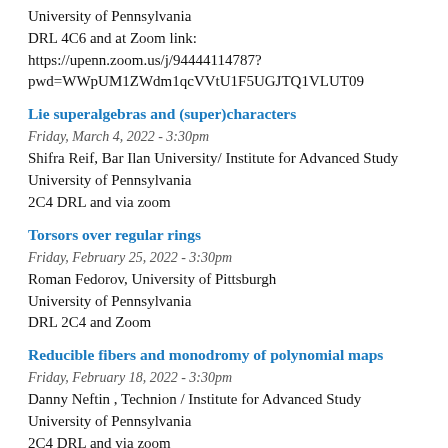University of Pennsylvania
DRL 4C6 and at Zoom link:
https://upenn.zoom.us/j/94444114787?pwd=WWpUM1ZWdm1qcVVtU1F5UGJTQ1VLUT09
Lie superalgebras and (super)characters
Friday, March 4, 2022 - 3:30pm
Shifra Reif, Bar Ilan University/ Institute for Advanced Study
University of Pennsylvania
2C4 DRL and via zoom
Torsors over regular rings
Friday, February 25, 2022 - 3:30pm
Roman Fedorov, University of Pittsburgh
University of Pennsylvania
DRL 2C4 and Zoom
Reducible fibers and monodromy of polynomial maps
Friday, February 18, 2022 - 3:30pm
Danny Neftin , Technion / Institute for Advanced Study
University of Pennsylvania
2C4 DRL and via zoom